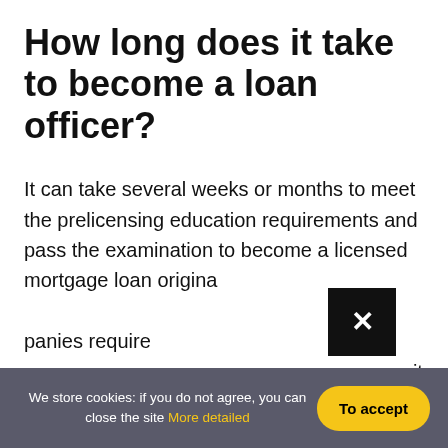How long does it take to become a loan officer?
It can take several weeks or months to meet the prelicensing education requirements and pass the examination to become a licensed mortgage loan originator. Some companies require additional training, so it can take longer.
What training does becoming a loan officer require?
We store cookies: if you do not agree, you can close the site More detailed